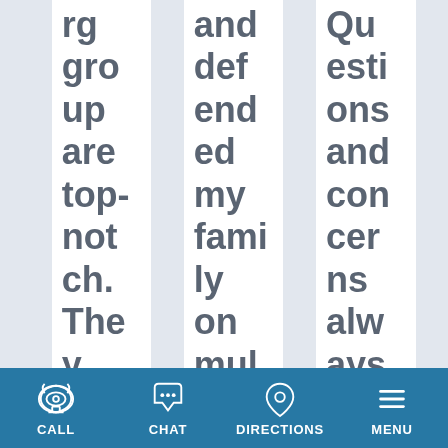rg group are top-notch. They handle
and defended my family on multiple t
Questions and concerns always get ans
CALL  CHAT  DIRECTIONS  MENU